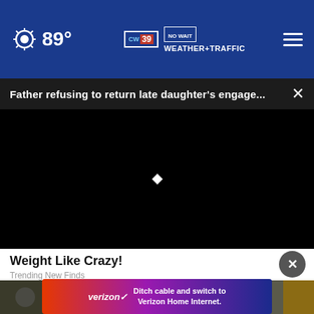89° WEATHER+TRAFFIC NO WAIT
Father refusing to return late daughter's engage... ×
[Figure (screenshot): Black video player area with small white diamond/play indicator in center]
Weight Like Crazy!
Trending New Finds
[Figure (infographic): Verizon advertisement banner: 'Ditch cable and switch to Verizon Home Internet.']